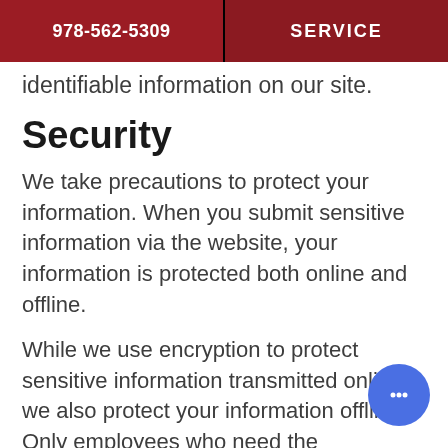978-562-5309  SERVICE
identifiable information on our site.
Security
We take precautions to protect your information. When you submit sensitive information via the website, your information is protected both online and offline.
While we use encryption to protect sensitive information transmitted online, we also protect your information offline. Only employees who need the information to perform a specific (for example, customer service) are granted